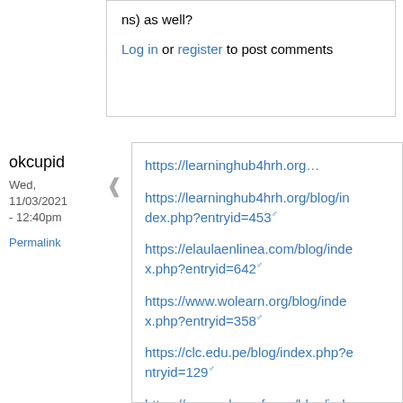ns) as well?
Log in or register to post comments
okcupid
Wed, 11/03/2021 - 12:40pm
Permalink
https://learninghub4hrh.org...
https://learninghub4hrh.org/blog/index.php?entryid=453
https://elaulaenlinea.com/blog/index.php?entryid=642
https://www.wolearn.org/blog/index.php?entryid=358
https://clc.edu.pe/blog/index.php?entryid=129
https://cursos.leynofor.es/blog/inde